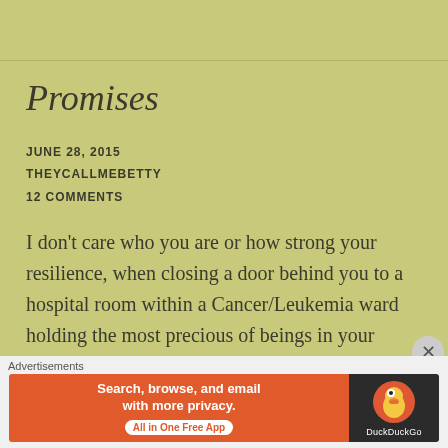Promises
JUNE 28, 2015
THEYCALLMEBETTY
12 COMMENTS
I don't care who you are or how strong your resilience, when closing a door behind you to a hospital room within a Cancer/Leukemia ward holding the most precious of beings in your
[Figure (screenshot): DuckDuckGo advertisement banner with orange left panel reading 'Search, browse, and email with more privacy. All in One Free App' and dark right panel with DuckDuckGo duck logo]
Advertisements